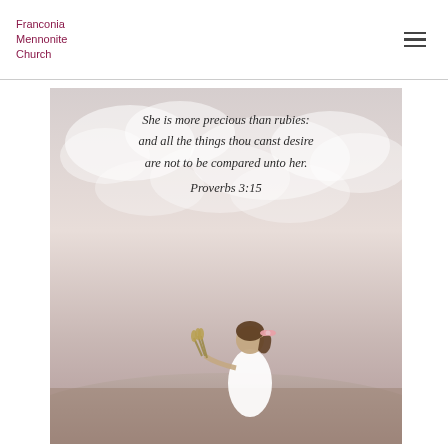Franconia Mennonite Church
[Figure (illustration): Inspirational image with a cursive scripture text overlay reading 'She is more precious than rubies: and all the things thou canst desire are not to be compared unto her. Proverbs 3:15', over a dreamy cloudy sky background with a silhouette of a young girl in white dress holding wheat, hair in a ponytail with a bow.]